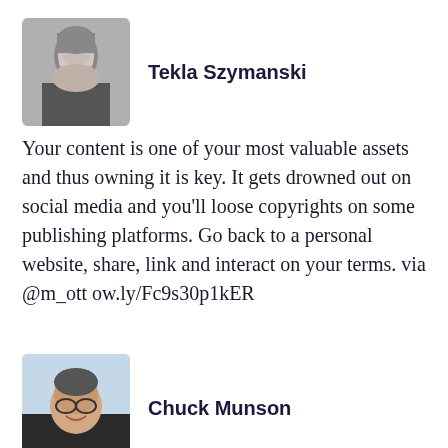[Figure (photo): Profile photo of Tekla Szymanski - black and white portrait of a woman]
Tekla Szymanski
Your content is one of your most valuable assets and thus owning it is key. It gets drowned out on social media and you'll loose copyrights on some publishing platforms. Go back to a personal website, share, link and interact on your terms. via @m_ott ow.ly/Fc9s30p1kER
[Figure (photo): Profile photo of Chuck Munson - man with glasses smiling outdoors]
Chuck Munson
Going Indie. Step 2: Reclaiming Content matthiasott.com/articles/into-... #IndieWeb #OpenWeb